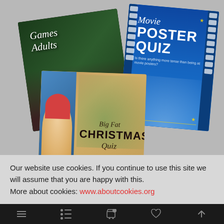[Figure (photo): Three book/game covers displayed: 'Games 4 Adults' (dark green Christmas themed cover), 'Movie POSTER QUIZ' (blue filmstrip-style cover), and 'Big Fat CHRISTMAS Quiz' (golden/brown cover with Christmas tree).]
Our website use cookies. If you continue to use this site we will assume that you are happy with this. More about cookies: www.aboutcookies.org
Navigation bar with menu, filter, cart, wishlist, and scroll-to-top icons